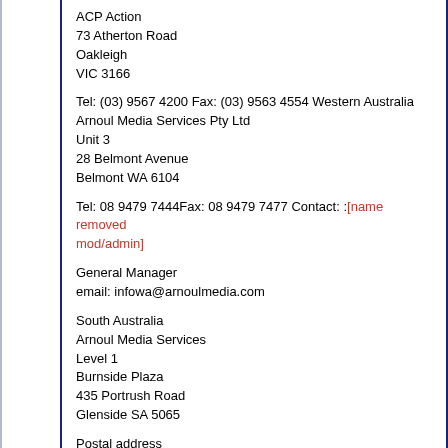ACP Action
73 Atherton Road
Oakleigh
VIC 3166
Tel: (03) 9567 4200 Fax: (03) 9563 4554 Western Australia
Arnoul Media Services Pty Ltd
Unit 3
28 Belmont Avenue
Belmont WA 6104
Tel: 08 9479 7444Fax: 08 9479 7477 Contact: :[name removed mod/admin]
General Manager
email: infowa@arnoulmedia.com
South Australia
Arnoul Media Services
Level 1
Burnside Plaza
435 Portrush Road
Glenside SA 5065
Postal address
PO Box 549
Glenside SA 5065
Tel: 08 8379 2444 Fax: 08 8379 2555 Contact:[name removed mod/admin]